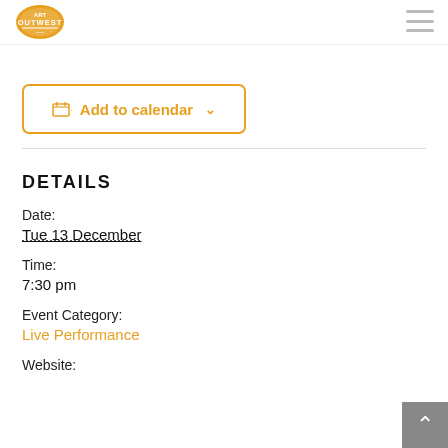[Figure (logo): Outwest logo — orange circular badge with text OUTWEST]
Add to calendar ▾
DETAILS
Date:
Tue 13 December
Time:
7:30 pm
Event Category:
Live Performance
Website: